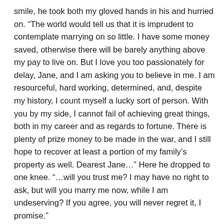smile, he took both my gloved hands in his and hurried on. “The world would tell us that it is imprudent to contemplate marrying on so little. I have some money saved, otherwise there will be barely anything above my pay to live on. But I love you too passionately for delay, Jane, and I am asking you to believe in me. I am resourceful, hard working, determined, and, despite my history, I count myself a lucky sort of person. With you by my side, I cannot fail of achieving great things, both in my career and as regards to fortune. There is plenty of prize money to be made in the war, and I still hope to recover at least a portion of my family’s property as well. Dearest Jane…” Here he dropped to one knee. “…will you trust me? I may have no right to ask, but will you marry me now, while I am undeserving? If you agree, you will never regret it, I promise.”